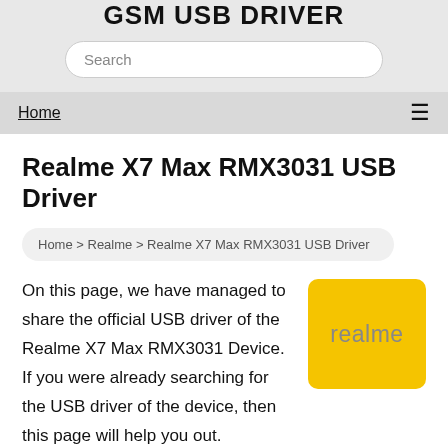GSM USB DRIVER
Search
Home ☰
Realme X7 Max RMX3031 USB Driver
Home > Realme > Realme X7 Max RMX3031 USB Driver
On this page, we have managed to share the official USB driver of the Realme X7 Max RMX3031 Device. If you were already searching for the USB driver of the device, then this page will help you out.
[Figure (logo): Realme brand logo — yellow/gold square with rounded corners displaying the word 'realme' in grey text]
There are 2 USB drivers available for the device, i.e.,